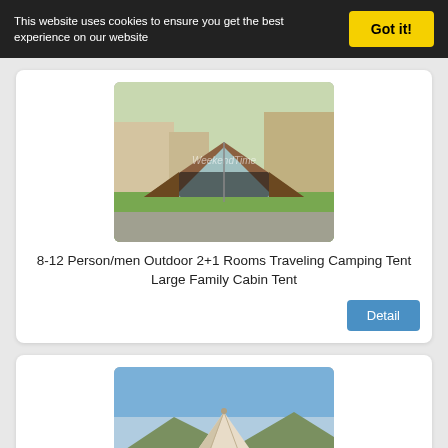This website uses cookies to ensure you get the best experience on our website
[Figure (photo): A large canvas cabin tent with brown and grey panels set up on green grass, branded with WeekendTime watermark]
8-12 Person/men Outdoor 2+1 Rooms Traveling Camping Tent Large Family Cabin Tent
[Figure (photo): A round white bell tent set up outdoors on a hillside with trees and mountain scenery in background]
8-12 Persons Multiplayer Traveling by Car Camping Meeting for Camping